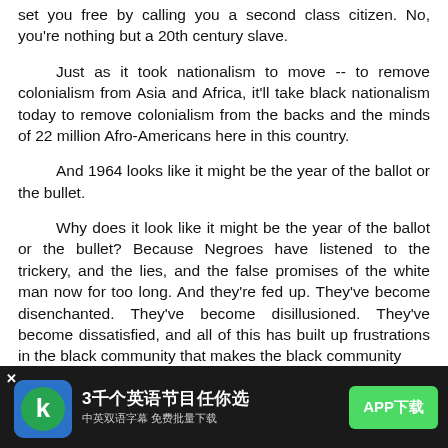set you free by calling you a second class citizen. No, you're nothing but a 20th century slave.
Just as it took nationalism to move -- to remove colonialism from Asia and Africa, it'll take black nationalism today to remove colonialism from the backs and the minds of 22 million Afro-Americans here in this country.
And 1964 looks like it might be the year of the ballot or the bullet.
Why does it look like it might be the year of the ballot or the bullet? Because Negroes have listened to the trickery, and the lies, and the false promises of the white man now for too long. And they're fed up. They've become disenchanted. They've become disillusioned. They've become dissatisfied, and all of this has built up frustrations in the black community that makes the black community
[Figure (other): Mobile app advertisement banner: '3千个英语节目任你选' (3000 English programs to choose from), '中英双语字幕 免费批量下载' (Chinese-English bilingual subtitles, free batch download), with a green APP下载 (APP Download) button and a K-logo icon.]